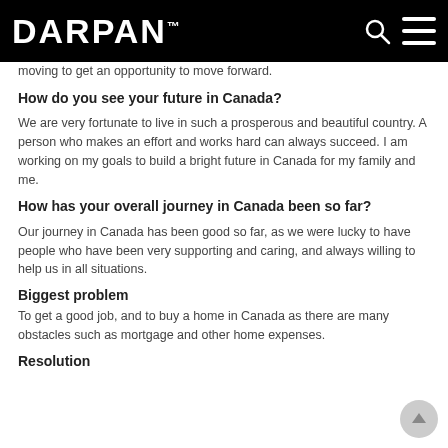DARPAN™
moving to get an opportunity to move forward.
How do you see your future in Canada?
We are very fortunate to live in such a prosperous and beautiful country. A person who makes an effort and works hard can always succeed. I am working on my goals to build a bright future in Canada for my family and me.
How has your overall journey in Canada been so far?
Our journey in Canada has been good so far, as we were lucky to have people who have been very supporting and caring, and always willing to help us in all situations.
Biggest problem
To get a good job, and to buy a home in Canada as there are many obstacles such as mortgage and other home expenses.
Resolution